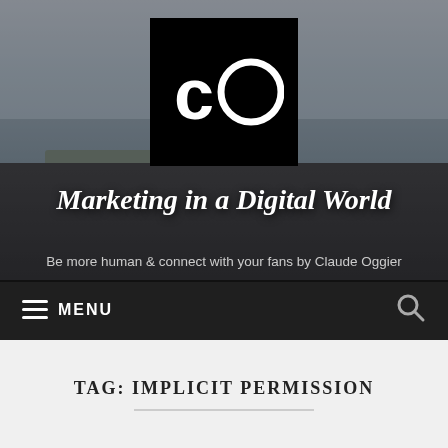[Figure (screenshot): Website header with black square logo featuring 'Co' text, landscape/coastal background photo, site title 'Marketing in a Digital World', subtitle 'Be more human & connect with your fans by Claude Oggier', and dark navigation bar with MENU and search icon]
Marketing in a Digital World
Be more human & connect with your fans by Claude Oggier
TAG: IMPLICIT PERMISSION